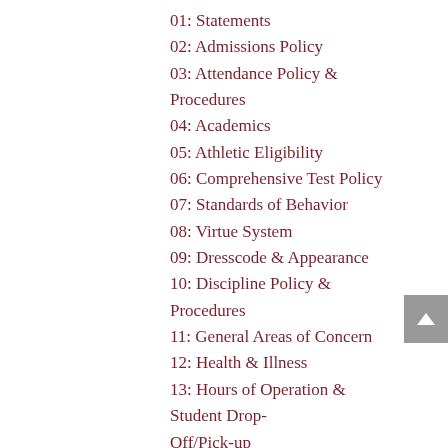01: Statements
02: Admissions Policy
03: Attendance Policy & Procedures
04: Academics
05: Athletic Eligibility
06: Comprehensive Test Policy
07: Standards of Behavior
08: Virtue System
09: Dresscode & Appearance
10: Discipline Policy & Procedures
11: General Areas of Concern
12: Health & Illness
13: Hours of Operation & Student Drop-Off/Pick-up
14: Fundraising Policy
15: Library Policy
16: Internet Policy
17: Home Study Policy